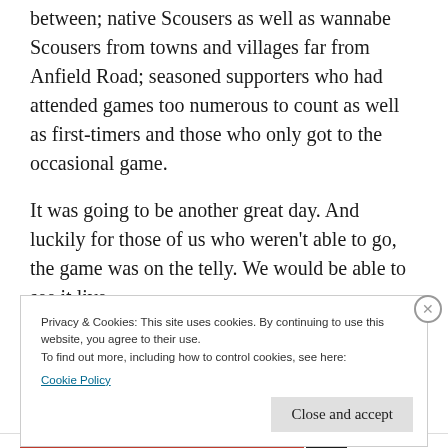between; native Scousers as well as wannabe Scousers from towns and villages far from Anfield Road; seasoned supporters who had attended games too numerous to count as well as first-timers and those who only got to the occasional game.
It was going to be another great day. And luckily for those of us who weren't able to go, the game was on the telly. We would be able to see it live.
Privacy & Cookies: This site uses cookies. By continuing to use this website, you agree to their use.
To find out more, including how to control cookies, see here:
Cookie Policy